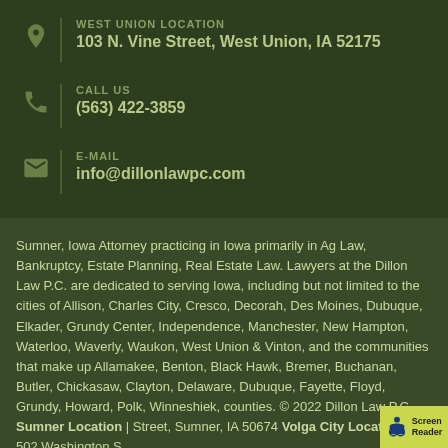WEST UNION LOCATION
103 N. Vine Street, West Union, IA 52175
CALL US
(563) 422-3859
E-MAIL
info@dillonlawpc.com
Sumner, Iowa Attorney practicing in Iowa primarily in Ag Law, Bankruptcy, Estate Planning, Real Estate Law. Lawyers at the Dillon Law P.C. are dedicated to serving Iowa, including but not limited to the cities of Allison, Charles City, Cresco, Decorah, Des Moines, Dubuque, Elkader, Grundy Center, Independence, Manchester, New Hampton, Waterloo, Waverly, Waukon, West Union & Vinton, and the communities that make up Allamakee, Benton, Black Hawk, Bremer, Buchanan, Butler, Chickasaw, Clayton, Delaware, Dubuque, Fayette, Floyd, Grundy, Howard, Polk, Winneshiek, counties. © 2022 Dillon Law P.C. Sumner Location | Street, Sumner, IA 50674 Volga City Location | 502 Washington S